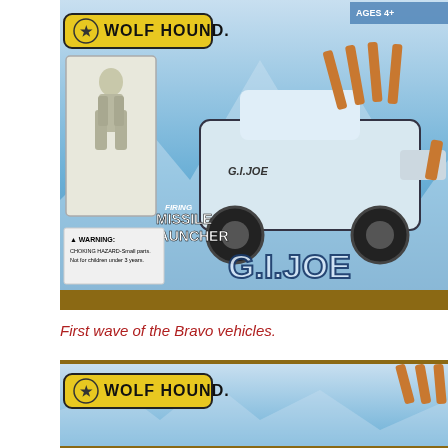[Figure (photo): G.I. Joe Wolf Hound vehicle toy box packaging. Blue background showing a white military tank-style vehicle with firing missile launcher, missiles on top, and a small soldier figure. Yellow 'WOLF HOUND.' logo badge in upper left. 'FIRING MISSILE LAUNCHER' text on package. G.I. JOE logo bottom right. Warning label bottom left: 'WARNING: CHOKING HAZARD-Small parts. Not for children under 3 years.']
First wave of the Bravo vehicles.
[Figure (photo): Partial view of another G.I. Joe Wolf Hound vehicle toy box packaging, showing the same yellow 'WOLF HOUND.' logo badge and the tips of missiles on a blue background, photographed on a wooden surface.]